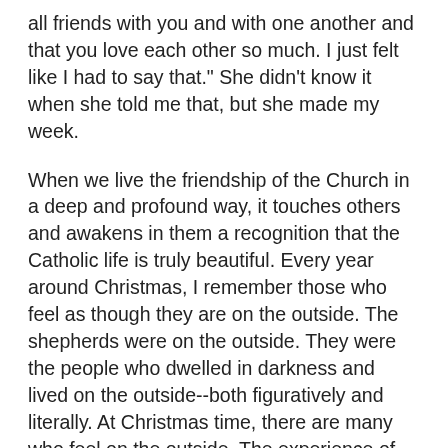all friends with you and with one another and that you love each other so much. I just felt like I had to say that." She didn't know it when she told me that, but she made my week.
When we live the friendship of the Church in a deep and profound way, it touches others and awakens in them a recognition that the Catholic life is truly beautiful. Every year around Christmas, I remember those who feel as though they are on the outside. The shepherds were on the outside. They were the people who dwelled in darkness and lived on the outside--both figuratively and literally. At Christmas time, there are many who feel on the outside. The experience of suffering or the effects of sin leave them feeling as though they are peering in the window watching others seated by the warmth and glow of the fire, enjoying the Christmas Feast while they remain in the darkness and cold outside.